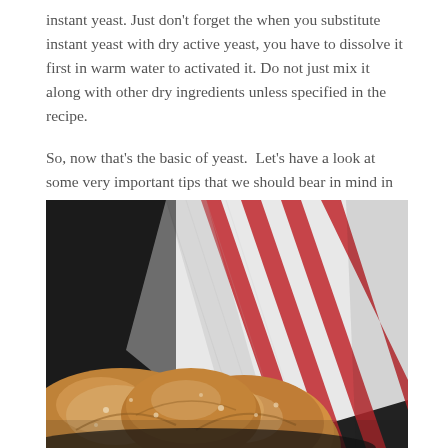instant yeast. Just don't forget the when you substitute instant yeast with dry active yeast, you have to dissolve it first in warm water to activated it. Do not just mix it along with other dry ingredients unless specified in the recipe.

So, now that's the basic of yeast.  Let's have a look at some very important tips that we should bear in mind in making yeast bread.
[Figure (photo): A dark moody photograph showing bread rolls dusted with flour in the foreground, with a red and white striped kitchen towel/cloth draped in the background, all set against a dark grey/black surface.]